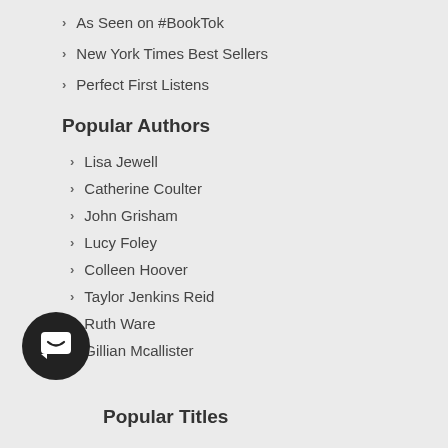As Seen on #BookTok
New York Times Best Sellers
Perfect First Listens
Popular Authors
Lisa Jewell
Catherine Coulter
John Grisham
Lucy Foley
Colleen Hoover
Taylor Jenkins Reid
Ruth Ware
Gillian Mcallister
[Figure (illustration): Dark circular chat bubble icon with a smiling face/message icon]
Popular Titles